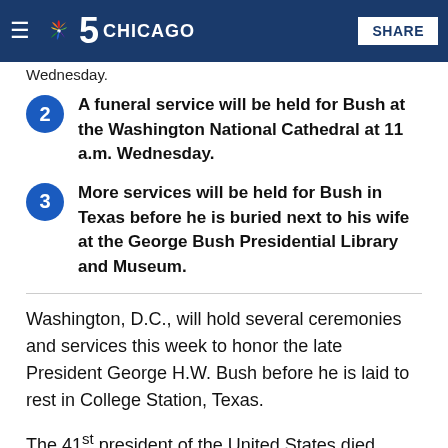NBC 5 Chicago — navigation header with hamburger menu, NBC peacock logo, '5 CHICAGO' wordmark, and SHARE button
Wednesday.
2. A funeral service will be held for Bush at the Washington National Cathedral at 11 a.m. Wednesday.
3. More services will be held for Bush in Texas before he is buried next to his wife at the George Bush Presidential Library and Museum.
Washington, D.C., will hold several ceremonies and services this week to honor the late President George H.W. Bush before he is laid to rest in College Station, Texas.
The 41st president of the United States died Friday night at the age of 94 and was quickly remembered as a humble patriot, dedicated public servant and beloved family man.